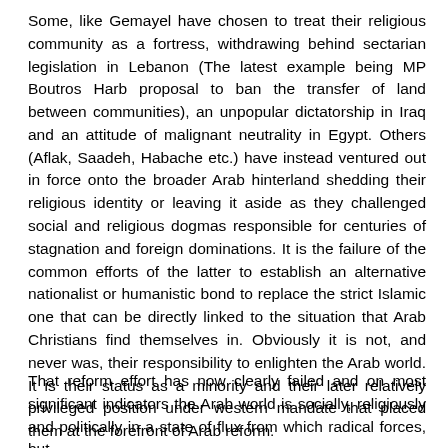Some, like Gemayel have chosen to treat their religious community as a fortress, withdrawing behind sectarian legislation in Lebanon (The latest example being MP Boutros Harb proposal to ban the transfer of land between communities), an unpopular dictatorship in Iraq and an attitude of malignant neutrality in Egypt. Others (Aflak, Saadeh, Habache etc.) have instead ventured out in force onto the broader Arab hinterland shedding their religious identity or leaving it aside as they challenged social and religious dogmas responsible for centuries of stagnation and foreign dominations. It is the failure of the common efforts of the latter to establish an alternative nationalist or humanistic bond to replace the strict Islamic one that can be directly linked to the situation that Arab Christians find themselves in. Obviously it is not, and never was, their responsibility to enlighten the Arab world. It is their status as a minority and their later relatively privileged position under western mandate that placed them at the forefront of Arab reform.
That reform effort has now clearly failed and on most significant indicators the Arab world is socially, religiously and politically in a state of flux from which radical forces, but